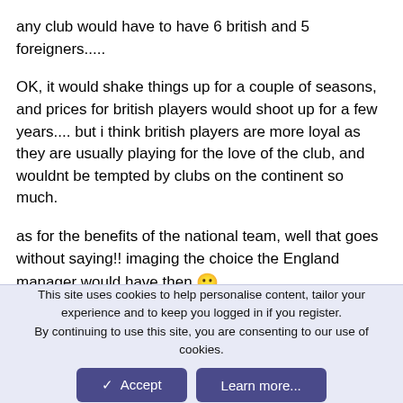any club would have to have 6 british and 5 foreigners.....
OK, it would shake things up for a couple of seasons, and prices for british players would shoot up for a few years.... but i think british players are more loyal as they are usually playing for the love of the club, and wouldnt be tempted by clubs on the continent so much.
as for the benefits of the national team, well that goes without saying!! imaging the choice the England manager would have then 🙂
in fact all the home nations would benefit, with british players being allowed so the Scots, Irish and the Welsh would be better off too.
This site uses cookies to help personalise content, tailor your experience and to keep you logged in if you register.
By continuing to use this site, you are consenting to our use of cookies.